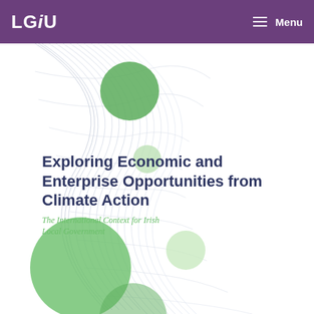LGiU  Menu
[Figure (illustration): Decorative cover image with wavy mesh pattern and green circles of various sizes on a white background]
Exploring Economic and Enterprise Opportunities from Climate Action
The International Context for Irish Local Government